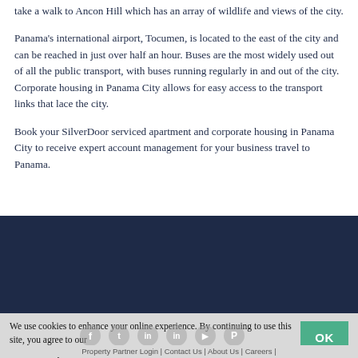take a walk to Ancon Hill which has an array of wildlife and views of the city.
Panama’s international airport, Tocumen, is located to the east of the city and can be reached in just over half an hour. Buses are the most widely used out of all the public transport, with buses running regularly in and out of the city. Corporate housing in Panama City allows for easy access to the transport links that lace the city.
Book your SilverDoor serviced apartment and corporate housing in Panama City to receive expert account management for your business travel to Panama.
[Figure (other): Dark navy blue banner/footer section]
We use cookies to enhance your online experience. By continuing to use this site, you agree to our Cookie Policy
Property Partner Login | Contact Us | About Us | Careers |